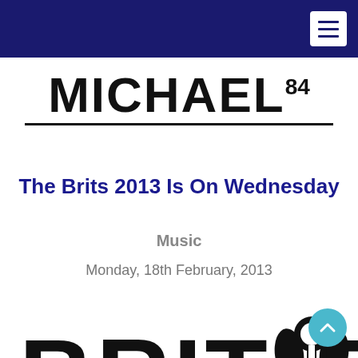Navigation bar with hamburger menu
MICHAEL84
The Brits 2013 Is On Wednesday
Music
Monday, 18th February, 2013
[Figure (logo): BRIT AWARDS logo in large black bold typography with a stylized figure trophy icon]